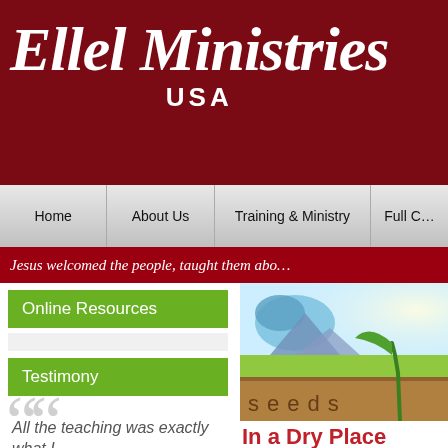Ellel Ministries USA
Home | About Us | Training & Ministry | Full C…
Jesus welcomed the people, taught them abo…
Online Resources
Testimony
[Figure (illustration): Seeds illustration showing a seedling sprouting from soil with water/rain droplets and sky in background, with the word 'seeds' written across the bottom]
In a Dry Place
by Lynda Scott
All the teaching was exactly what I
There are times as a Christian tha…